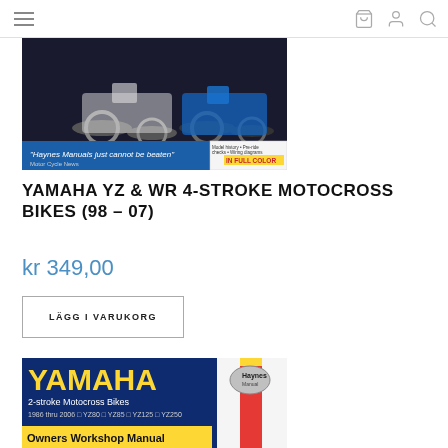[Figure (photo): Haynes manual cover showing two Yamaha YZ/WR 4-stroke motocross bikes, with blue banner reading 'Haynes Manuals just cannot be beaten' and 'IN FULL COLOR' yellow label]
YAMAHA YZ & WR 4-STROKE MOTOCROSS BIKES (98 – 07)
kr 349,00
LÄGG I VARUKORG
[Figure (photo): Haynes Yamaha 2-stroke Motocross Bikes Owners Workshop Manual cover, 1986 thru 2006, YZ80, YZ85, YZ125, YZ250, dark blue background with yellow YAMAHA text and red stripe]